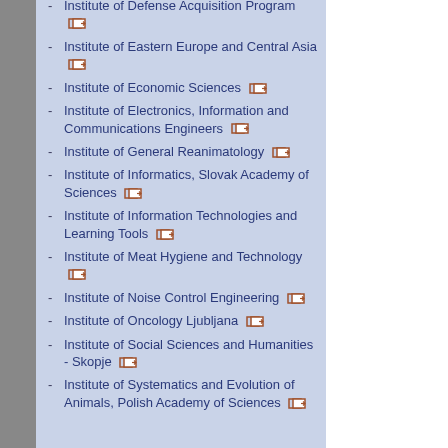Institute of Defense Acquisition Program
Institute of Eastern Europe and Central Asia
Institute of Economic Sciences
Institute of Electronics, Information and Communications Engineers
Institute of General Reanimatology
Institute of Informatics, Slovak Academy of Sciences
Institute of Information Technologies and Learning Tools
Institute of Meat Hygiene and Technology
Institute of Noise Control Engineering
Institute of Oncology Ljubljana
Institute of Social Sciences and Humanities - Skopje
Institute of Systematics and Evolution of Animals, Polish Academy of Sciences